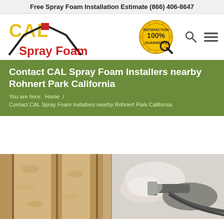Free Spray Foam Installation Estimate (866) 406-8647
[Figure (logo): CAL Spray Foam logo with house roofline graphic and 100% Satisfaction Guarantee badge, plus search and hamburger menu icons]
Contact CAL Spray Foam Installers nearby Rohnert Park California
You are here: Home / Contact CAL Spray Foam Installers nearby Rohnert Park California
[Figure (photo): Two-panel photo strip: left shows spray foam insulation applied between wood wall studs (tan/beige fibrous texture), right shows a gloved hand holding spray foam application gun nozzle with hoses]